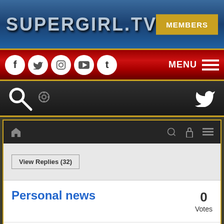SUPERGIRL.TV  MEMBERS
[Figure (screenshot): Navigation bar with social media icons (Facebook, Twitter, Instagram, YouTube, Tumblr) and MENU hamburger button]
[Figure (screenshot): Search bar with magnifying glass icon and Twitter bird icon]
[Figure (screenshot): Forum navigation bar with home, search, lock, and menu icons]
View Replies (32)
Personal news
0 Votes
kdogg87  Off Topic
Wednesday, 19 December 2018